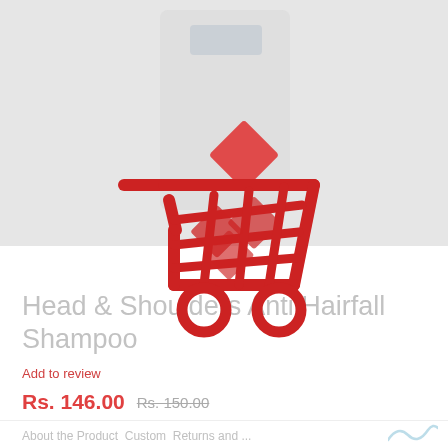[Figure (screenshot): E-commerce product page screenshot showing a shopping cart icon animation (red cart with red diamond shapes falling into it) overlaid on a blurred product page background. The background shows a Head & Shoulders Anti Hairfall Shampoo product image and right-side panel with blue headers.]
Head & Shoulders Anti Hairfall Shampoo
Add to review
Rs. 146.00  Rs. 150.00
About the Product  Custom  Returns and ...